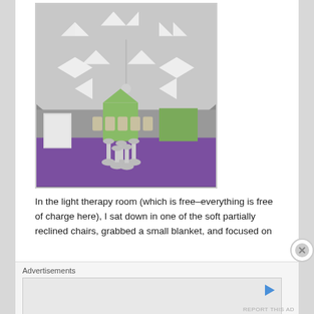[Figure (photo): Interior of a light therapy room with a vaulted white ceiling featuring numerous triangular and diamond-shaped skylights arranged in a geometric pattern. Purple carpet covers the floor. Chairs are arranged around the perimeter. Several white pillar-like stands are clustered in the center foreground. A window and door are visible at the back.]
In the light therapy room (which is free–everything is free of charge here), I sat down in one of the soft partially reclined chairs, grabbed a small blanket, and focused on
Advertisements